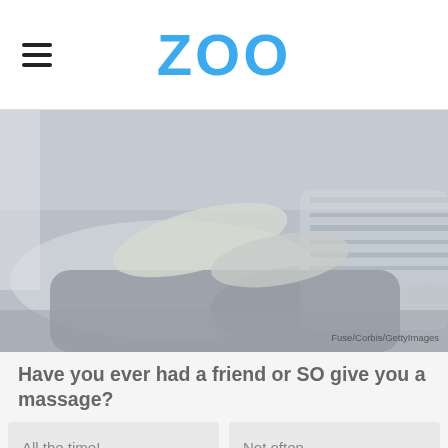ZOO
[Figure (photo): Grayscale photo of a person giving a foot or leg massage to another person sitting down, with legs visible in the foreground. Credit: Fuse/Corbis/GettyImages]
Have you ever had a friend or SO give you a massage?
All the time!
Not often.
I'd never ask for a